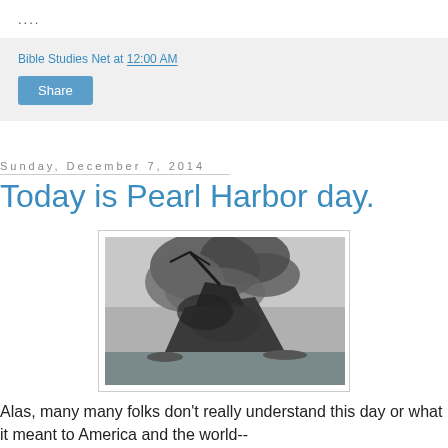....
Bible Studies Net at 12:00 AM
Share
Sunday, December 7, 2014
Today is Pearl Harbor day.
[Figure (photo): Black and white historical photograph of a ship sinking and burning at Pearl Harbor, with large plumes of smoke rising from the vessel.]
Alas, many many folks don't really understand this day or what it meant to America and the world--